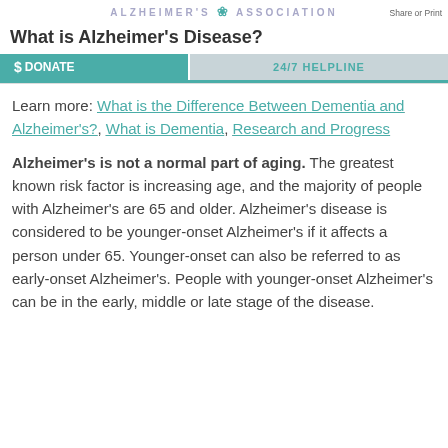ALZHEIMER'S ASSOCIATION
Share or Print this page  MENU
What is Alzheimer's Disease?
$ DONATE   24/7 HELPLINE
Learn more: What is the Difference Between Dementia and Alzheimer's?, What is Dementia, Research and Progress
Alzheimer's is not a normal part of aging. The greatest known risk factor is increasing age, and the majority of people with Alzheimer's are 65 and older. Alzheimer's disease is considered to be younger-onset Alzheimer's if it affects a person under 65. Younger-onset can also be referred to as early-onset Alzheimer's. People with younger-onset Alzheimer's can be in the early, middle or late stage of the disease.